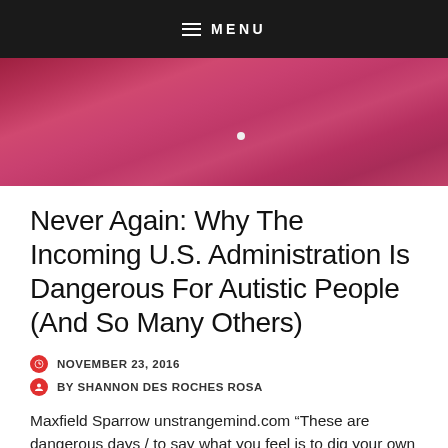MENU
[Figure (photo): Close-up photo of a person wearing a maroon/dark pink button-up shirt, showing the chest area with one visible button.]
Never Again: Why The Incoming U.S. Administration Is Dangerous For Autistic People (And So Many Others)
NOVEMBER 23, 2016
BY SHANNON DES ROCHES ROSA
Maxfield Sparrow unstrangemind.com “These are dangerous days / to say what you feel is to dig your own grave.” -Sinead O’Connor Sparrow R. Jones [image: Portrait photo of a white person with short dark gray hair, glasses, and a maroon button-up shirt.] I blame myself. I should have